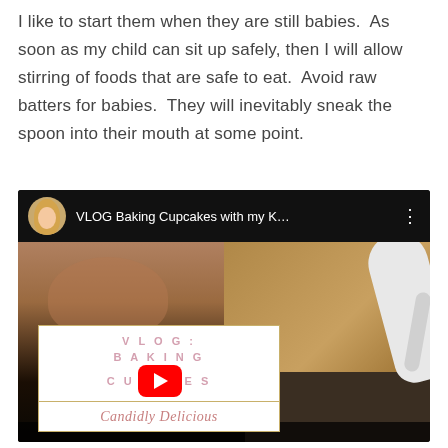I like to start them when they are still babies.  As soon as my child can sit up safely, then I will allow stirring of foods that are safe to eat.  Avoid raw batters for babies.  They will inevitably sneak the spoon into their mouth at some point.
[Figure (screenshot): Embedded YouTube video thumbnail showing 'VLOG Baking Cupcakes with my K...' with a child's face on left side and kitchen equipment on right, overlaid with a decorative card reading VLOG: BAKING CUPCAKES with a YouTube play button and 'Candidly Delicious' branding in cursive.]